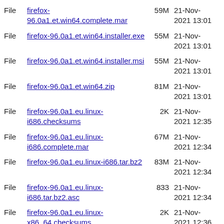File firefox-96.0a1.et.win64.complete.mar 59M 21-Nov-2021 13:01
File firefox-96.0a1.et.win64.installer.exe 55M 21-Nov-2021 13:01
File firefox-96.0a1.et.win64.installer.msi 55M 21-Nov-2021 13:01
File firefox-96.0a1.et.win64.zip 81M 21-Nov-2021 13:01
File firefox-96.0a1.eu.linux-i686.checksums 2K 21-Nov-2021 12:35
File firefox-96.0a1.eu.linux-i686.complete.mar 67M 21-Nov-2021 12:34
File firefox-96.0a1.eu.linux-i686.tar.bz2 83M 21-Nov-2021 12:34
File firefox-96.0a1.eu.linux-i686.tar.bz2.asc 833 21-Nov-2021 12:34
File firefox-96.0a1.eu.linux-x86_64.checksums 2K 21-Nov-2021 12:36
File firefox-96.0a1.eu.linux-x86_64.complete.mar 66M 21-Nov-2021 12:34
File firefox-96.0a1.eu.linux-x86_64.tar.bz2 82M 21-Nov-2021 12:34